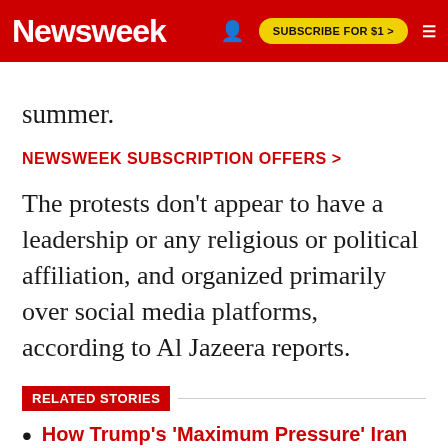Newsweek | SUBSCRIBE FOR $1 >
summer.
NEWSWEEK SUBSCRIPTION OFFERS >
The protests don't appear to have a leadership or any religious or political affiliation, and organized primarily over social media platforms, according to Al Jazeera reports.
RELATED STORIES
How Trump's 'Maximum Pressure' Iran Policy is Leading the U.S. Into War